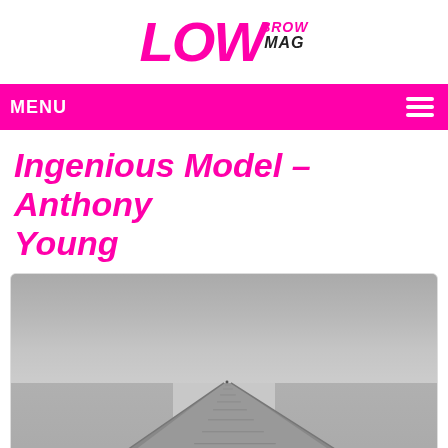LOW BROW MAG
MENU
Ingenious Model – Anthony Young
[Figure (photo): Black and white photograph of a wooden pier extending to the horizon over calm water, with overcast sky. A figure or bird is visible near the foreground on the pier.]